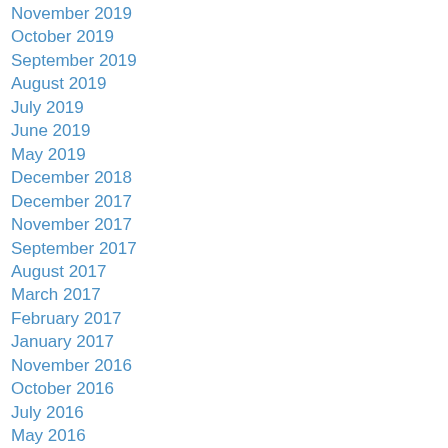November 2019
October 2019
September 2019
August 2019
July 2019
June 2019
May 2019
December 2018
December 2017
November 2017
September 2017
August 2017
March 2017
February 2017
January 2017
November 2016
October 2016
July 2016
May 2016
April 2016
March 2016